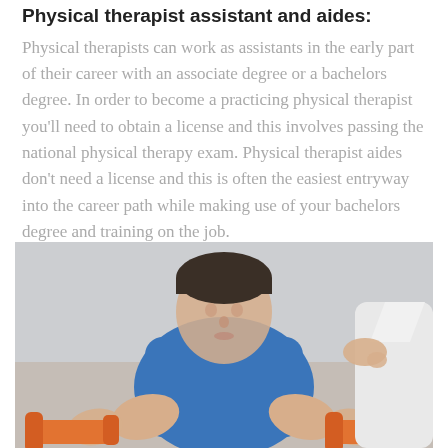Physical therapist assistant and aides: Physical therapists can work as assistants in the early part of their career with an associate degree or a bachelors degree. In order to become a practicing physical therapist you'll need to obtain a license and this involves passing the national physical therapy exam. Physical therapist aides don't need a license and this is often the easiest entryway into the career path while making use of your bachelors degree and training on the job.
[Figure (photo): A person wearing a blue t-shirt holding orange dumbbells, with another person in a white coat placing a hand on their shoulder — a physical therapy session.]